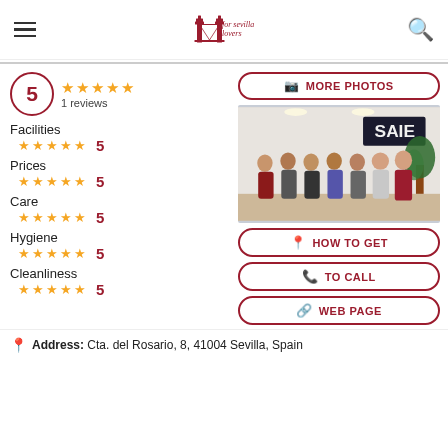For Sevilla Lovers
5 — 1 reviews
Facilities — 5 stars — 5
Prices — 5 stars — 5
Care — 5 stars — 5
Hygiene — 5 stars — 5
Cleanliness — 5 stars — 5
[Figure (photo): Group photo of several people standing inside an office/school with SAIE sign on wall and a plant]
MORE PHOTOS
HOW TO GET
TO CALL
WEB PAGE
Address: Cta. del Rosario, 8, 41004 Sevilla, Spain